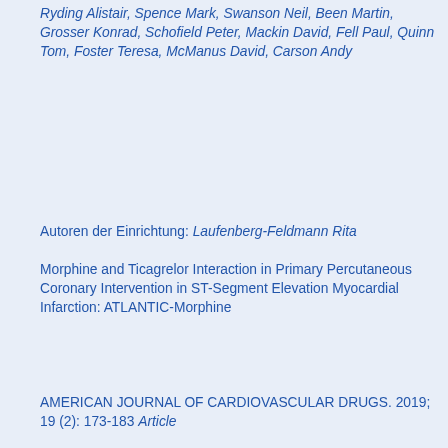Ryding Alistair, Spence Mark, Swanson Neil, Been Martin, Grosser Konrad, Schofield Peter, Mackin David, Fell Paul, Quinn Tom, Foster Teresa, McManus David, Carson Andy
Autoren der Einrichtung: Laufenberg-Feldmann Rita
Morphine and Ticagrelor Interaction in Primary Percutaneous Coronary Intervention in ST-Segment Elevation Myocardial Infarction: ATLANTIC-Morphine
AMERICAN JOURNAL OF CARDIOVASCULAR DRUGS. 2019; 19 (2): 173-183 Article
Datensatz in Web of Science®
Laufenberg-Feldmann Rita, Mueller Michael, Ferner Marion, Engelhard Kristin, Kappis Bernd
Autoren der Einrichtung: